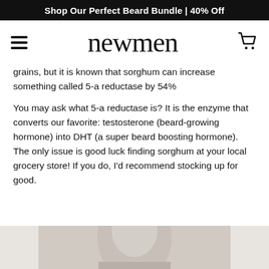Shop Our Perfect Beard Bundle | 40% Off
newmen
grains, but it is known that sorghum can increase something called 5-a reductase by 54%
You may ask what 5-a reductase is? It is the enzyme that converts our favorite: testosterone (beard-growing hormone) into DHT (a super beard boosting hormone). The only issue is good luck finding sorghum at your local grocery store! If you do, I'd recommend stocking up for good.
[Figure (photo): Bottom portion of a person's face/head, cropped at the bottom of the page]